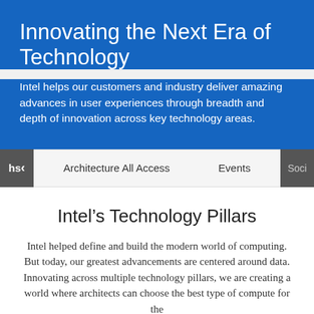Innovating the Next Era of Technology
Intel helps our customers and industry deliver amazing advances in user experiences through breadth and depth of innovation across key technology areas.
hs< Architecture All Access Events Soci>
Intel’s Technology Pillars
Intel helped define and build the modern world of computing. But today, our greatest advancements are centered around data. Innovating across multiple technology pillars, we are creating a world where architects can choose the best type of compute for the